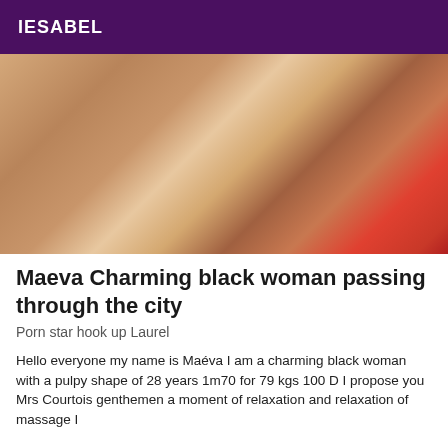IESABEL
[Figure (photo): A person lying on a bed, photo cropped to show back and lower body wearing black lingerie, on white and red bedding]
Maeva Charming black woman passing through the city
Porn star hook up Laurel
Hello everyone my name is Maéva I am a charming black woman with a pulpy shape of 28 years 1m70 for 79 kgs 100 D I propose you Mrs Courtois genthemen a moment of relaxation and relaxation of massage I